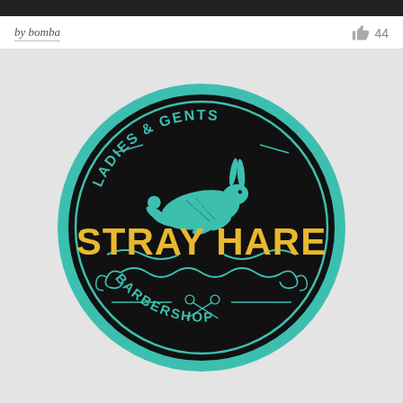by bomba
44
[Figure (logo): Circular black badge logo for 'The Stray Hare Barbershop - Ladies & Gents'. Features a leaping hare illustration in teal/turquoise, the text 'LADIES & GENTS' arched at the top in teal, 'The' in teal cursive script, 'STRAY HARE' in large gold/yellow bold letters, decorative teal scrollwork below, scissors icon, and 'BARBERSHOP' arched at the bottom in teal, all on a black circle with a teal ring border.]